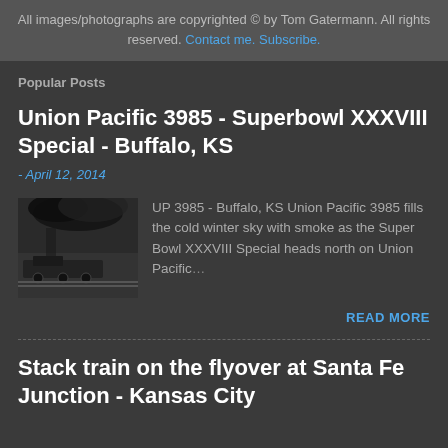All images/photographs are copyrighted © by Tom Gatermann. All rights reserved. Contact me. Subscribe.
Popular Posts
Union Pacific 3985 - Superbowl XXXVIII Special - Buffalo, KS
- April 12, 2014
[Figure (photo): Black and white photograph of UP 3985 locomotive filling the cold winter sky with smoke]
UP 3985 - Buffalo, KS Union Pacific 3985 fills the cold winter sky with smoke as the Super Bowl XXXVIII Special heads north on Union Pacific…
READ MORE
Stack train on the flyover at Santa Fe Junction - Kansas City